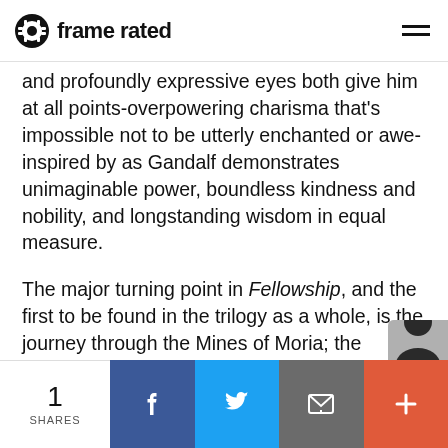frame rated
and profoundly expressive eyes both give him at all points-overpowering charisma that's impossible not to be utterly enchanted or awe-inspired by as Gandalf demonstrates unimaginable power, boundless kindness and nobility, and longstanding wisdom in equal measure.
The major turning point in Fellowship, and the first to be found in the trilogy as a whole, is the journey through the Mines of Moria; the greatest test of the Fellowship's integrity, and one that seems to end in disaster, as their battle against the mines' most hellish threats—not to mention their resistance agains
1 SHARES